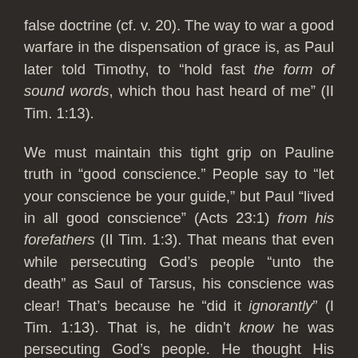false doctrine (cf. v. 20). The way to war a good warfare in the dispensation of grace is, as Paul later told Timothy, to “hold fast the form of sound words, which thou hast heard of me” (II Tim. 1:13).
We must maintain this tight grip on Pauline truth in “good conscience.” People say to “let your conscience be your guide,” but Paul “lived in all good conscience” (Acts 23:1) from his forefathers (II Tim. 1:3). That means that even while persecuting God’s people “unto the death” as Saul of Tarsus, his conscience was clear! That’s because he “did it ignorantly” (I Tim. 1:13). That is, he didn’t know he was persecuting God’s people. He thought His people were heretics and that he was serving God in killing them (John 16:2). Does that tell you how dangerous it is to let your conscience